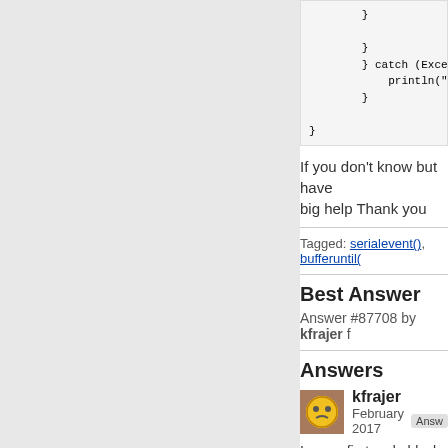[Figure (screenshot): Code block showing closing braces and catch block with partial text: } catch (Exception e... and println("Caught Ex...]
If you don't know but have... big help Thank you
Tagged: serialevent(), bufferuntil(
Best Answer
Answer #87708 by kfrajer f...
Answers
kfrajer
February 2017
In your first code block in yo... people reading your post. E...
In Line 18, after you send li...